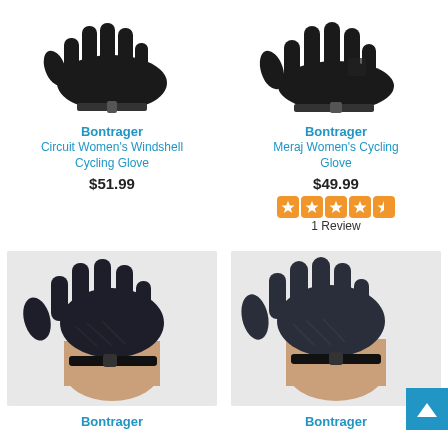[Figure (photo): Bontrager Circuit Women's Windshell Cycling Glove product photo (black gloves, top view), cropped]
Bontrager
Circuit Women's Windshell Cycling Glove
$51.99
[Figure (photo): Bontrager Meraj Women's Cycling Glove product photo (black gloves, top view), cropped]
Bontrager
Meraj Women's Cycling Glove
$49.99
[Figure (other): 5-star rating display (orange stars) with 4.5 stars shown]
1 Review
[Figure (photo): Person wearing black cycling glove on left hand, shown from above, bottom-left product]
[Figure (photo): Person wearing black/dark blue cycling glove on left hand, shown from above, bottom-right product]
Bontrager
Bontrager